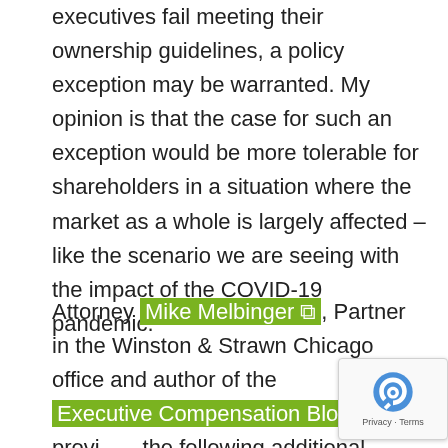executives fail meeting their ownership guidelines, a policy exception may be warranted. My opinion is that the case for such an exception would be more tolerable for shareholders in a situation where the market as a whole is largely affected – like the scenario we are seeing with the impact of the COVID-19 pandemic."
Attorney Mike Melbinger [external link], Partner in the Winston & Strawn Chicago office and author of the Executive Compensation Blog [external link], provided the following additional insight, shared below